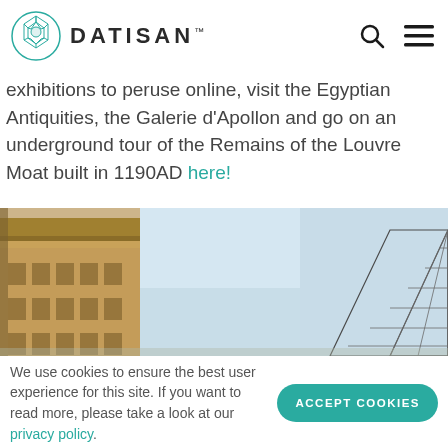DATISAN
exhibitions to peruse online, visit the Egyptian Antiquities, the Galerie d'Apollon and go on an underground tour of the Remains of the Louvre Moat built in 1190AD here!
[Figure (photo): Photo of the Louvre museum building on the left and the glass pyramid on the right, with a light blue sky background.]
We use cookies to ensure the best user experience for this site. If you want to read more, please take a look at our privacy policy.